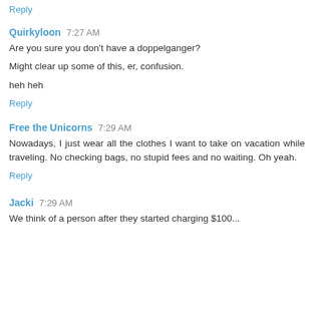Reply
Quirkyloon  7:27 AM
Are you sure you don't have a doppelganger?
Might clear up some of this, er, confusion.
heh heh
Reply
Free the Unicorns  7:29 AM
Nowadays, I just wear all the clothes I want to take on vacation while traveling. No checking bags, no stupid fees and no waiting. Oh yeah.
Reply
Jacki  7:29 AM
We think of a person after they started charging $100...